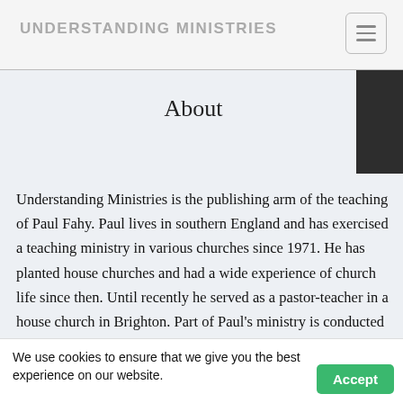UNDERSTANDING MINISTRIES
About
Understanding Ministries is the publishing arm of the teaching of Paul Fahy. Paul lives in southern England and has exercised a teaching ministry in various churches since 1971. He has planted house churches and had a wide experience of church life since then. Until recently he served as a pastor-teacher in a house church in Brighton. Part of Paul's ministry is conducted through the Internet, counselling and teaching. His teaching articles are first sent out to subscribers across the world; if you wish to join this list, or for a full list of his papers,
We use cookies to ensure that we give you the best experience on our website.